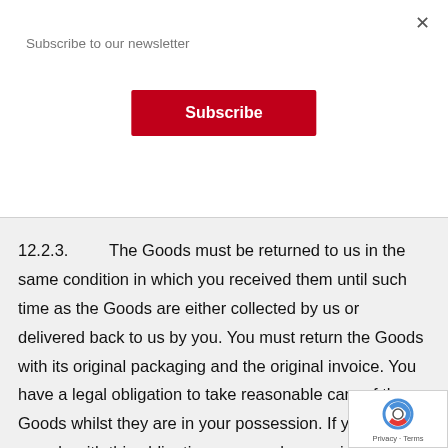Subscribe to our newsletter
Subscribe
×
12.2.3.     The Goods must be returned to us in the same condition in which you received them until such time as the Goods are either collected by us or delivered back to us by you. You must return the Goods with its original packaging and the original invoice. You have a legal obligation to take reasonable care of the Goods whilst they are in your possession. If you fail to comply with this obligation, we may have a right of action